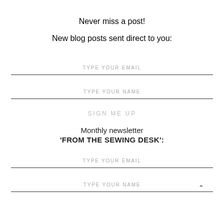Never miss a post!
New blog posts sent direct to you:
TYPE YOUR EMAIL
TYPE YOUR NAME
SIGN ME UP
Monthly newsletter
'FROM THE SEWING DESK':
TYPE YOUR EMAIL
TYPE YOUR NAME